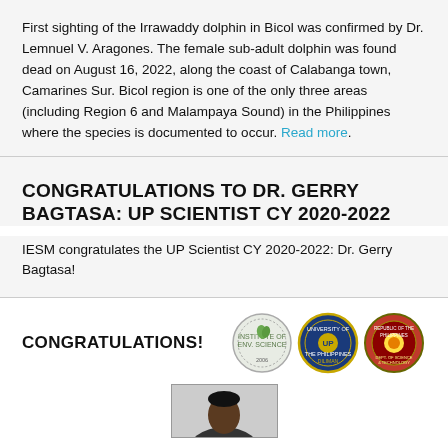First sighting of the Irrawaddy dolphin in Bicol was confirmed by Dr. Lemnuel V. Aragones. The female sub-adult dolphin was found dead on August 16, 2022, along the coast of Calabanga town, Camarines Sur. Bicol region is one of the only three areas (including Region 6 and Malampaya Sound) in the Philippines where the species is documented to occur. Read more.
CONGRATULATIONS TO DR. GERRY BAGTASA: UP SCIENTIST CY 2020-2022
IESM congratulates the UP Scientist CY 2020-2022: Dr. Gerry Bagtasa!
[Figure (infographic): Congratulations banner with text 'CONGRATULATIONS!' and three institutional seals/logos, plus a partial photo of a person at the bottom.]